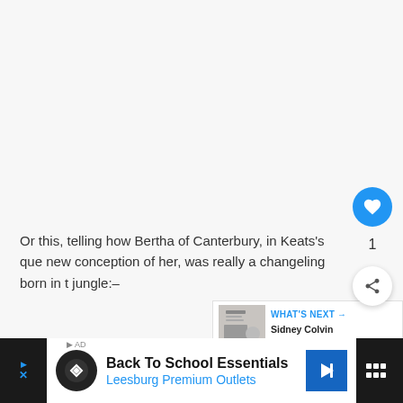Or this, telling how Bertha of Canterbury, in Keats's que new conception of her, was really a changeling born in the jungle:–
She is a changeling of my management;
She was born at midnight in an Indian wild;
[Figure (screenshot): Advertisement bar: Back To School Essentials, Leesburg Premium Outlets]